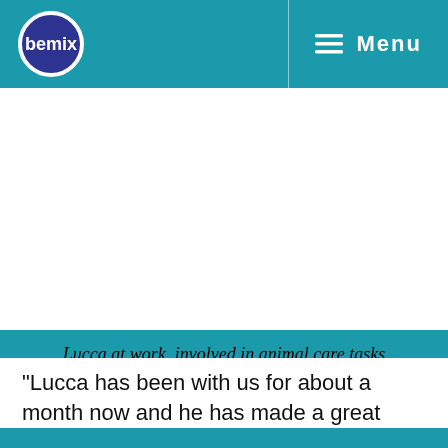[Figure (logo): Bemix logo: white circle with dark blue fill and white 'bemix' text, on teal header bar with Menu button on the right]
[Figure (photo): White/blank area representing photo of Lucca at work involved in animal care tasks (image not visible in this portion)]
Lucca at work, involved in animal care tasks
“Lucca has been with us for about a month now and he has made a great addition to our practice. He's fitted in nicely with the team and is very enthusiastic about animal care. He's a